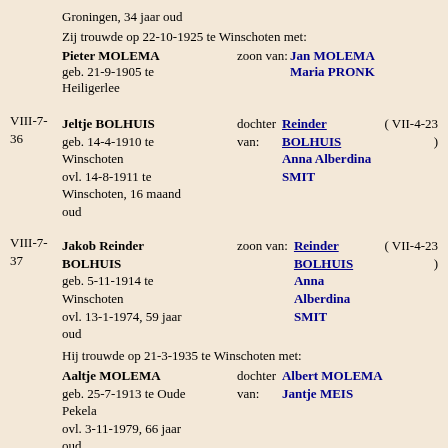Groningen, 34 jaar oud
Zij trouwde op 22-10-1925 te Winschoten met:
Pieter MOLEMA geb. 21-9-1905 te Heiligerlee | zoon van: Jan MOLEMA, Maria PRONK
VIII-7-36 Jeltje BOLHUIS geb. 14-4-1910 te Winschoten ovl. 14-8-1911 te Winschoten, 16 maand oud | dochter van: Reinder BOLHUIS Anna Alberdina SMIT (VII-4-23)
VIII-7-37 Jakob Reinder BOLHUIS geb. 5-11-1914 te Winschoten ovl. 13-1-1974, 59 jaar oud | zoon van: Reinder BOLHUIS Anna Alberdina SMIT (VII-4-23)
Hij trouwde op 21-3-1935 te Winschoten met:
Aaltje MOLEMA geb. 25-7-1913 te Oude Pekela ovl. 3-11-1979, 66 jaar oud | dochter van: Albert MOLEMA Jantje MEIS